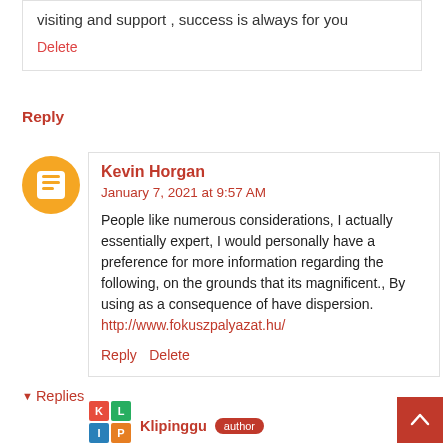visiting and support , success is always for you
Delete
Reply
Kevin Horgan
January 7, 2021 at 9:57 AM
People like numerous considerations, I actually essentially expert, I would personally have a preference for more information regarding the following, on the grounds that its magnificent., By using as a consequence of have dispersion.
http://www.fokuszpalyazat.hu/
Reply  Delete
▼ Replies
Klipinggu  author